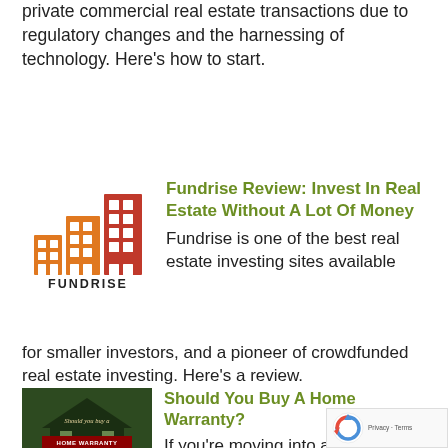private commercial real estate transactions due to regulatory changes and the harnessing of technology. Here's how to start.
[Figure (logo): Fundrise logo with building icons in orange and red, with text FUNDRISE below]
Fundrise Review: Invest In Real Estate Without A Lot Of Money
Fundrise is one of the best real estate investing sites available for smaller investors, and a pioneer of crowdfunded real estate investing. Here's a review.
[Figure (photo): Home warranty promotional image showing a house with text 'Should you buy a HOME WARRANTY']
Should You Buy A Home Warranty?
If you're moving into a new